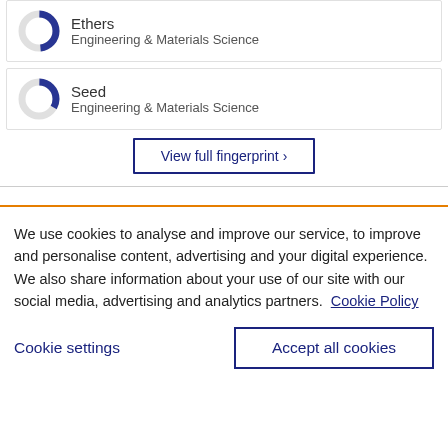[Figure (donut-chart): Donut chart showing Ethers keyword fingerprint in Engineering & Materials Science]
Ethers
Engineering & Materials Science
[Figure (donut-chart): Donut chart showing Seed keyword fingerprint in Engineering & Materials Science]
Seed
Engineering & Materials Science
View full fingerprint ›
We use cookies to analyse and improve our service, to improve and personalise content, advertising and your digital experience. We also share information about your use of our site with our social media, advertising and analytics partners.  Cookie Policy
Cookie settings
Accept all cookies